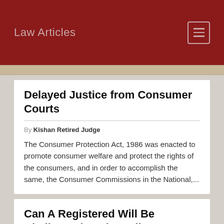Law Articles
Delayed Justice from Consumer Courts
By Kishan Retired Judge
The Consumer Protection Act, 1986 was enacted to promote consumer welfare and protect the rights of the consumers, and in order to accomplish the same, the Consumer Commissions in the National,...
Can A Registered Will Be Challenged In The Indian Court?
[Figure (photo): Partial photo visible at bottom of page, appears to show legal/document related imagery with red element]